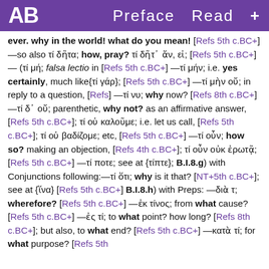AB   Preface  Read  +
ever. why in the world! what do you mean! [Refs 5th c.BC+] —so also τί δῆτα; how, pray? τί δῆτ᾽ ἄν, εἰ; [Refs 5th c.BC+] — (τί μή; falsa lectio in [Refs 5th c.BC+] —τί μήν; i.e. yes certainly, much like{τί γάρ}; [Refs 5th c.BC+] —τί μὴν οὔ; in reply to a question, [Refs] —τί νυ; why now? [Refs 8th c.BC+] —τί δ᾽ οὔ; parenthetic, why not? as an affirmative answer, [Refs 5th c.BC+]; τί οὐ καλοῦμε; i.e. let us call, [Refs 5th c.BC+]; τί οὐ βαδίζομε; etc, [Refs 5th c.BC+] —τί οὖν; how so? making an objection, [Refs 4th c.BC+]; τί οὖν οὐκ ἐρωτᾷ; [Refs 5th c.BC+] —τί ποτε; see at {τίπτε}; B.I.8.g) with Conjunctions following:—τί ὅτι; why is it that? [NT+5th c.BC+]; see at {ἵνα} [Refs 5th c.BC+] B.I.8.h) with Preps: —διὰ τ; wherefore? [Refs 5th c.BC+] —ἐκ τίνος; from what cause? [Refs 5th c.BC+] —ἐς τί; to what point? how long? [Refs 8th c.BC+]; but also, to what end? [Refs 5th c.BC+] —κατὰ τί; for what purpose? [Refs 5th